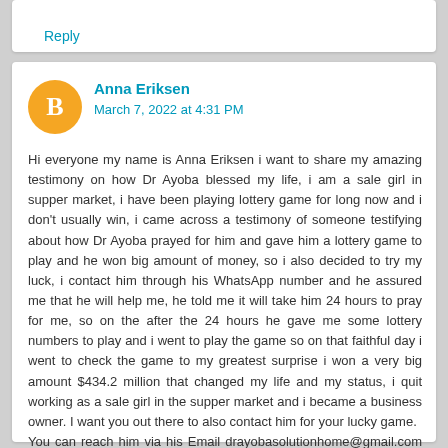Reply
Anna Eriksen
March 7, 2022 at 4:31 PM
Hi everyone my name is Anna Eriksen i want to share my amazing testimony on how Dr Ayoba blessed my life, i am a sale girl in supper market, i have been playing lottery game for long now and i don't usually win, i came across a testimony of someone testifying about how Dr Ayoba prayed for him and gave him a lottery game to play and he won big amount of money, so i also decided to try my luck, i contact him through his WhatsApp number and he assured me that he will help me, he told me it will take him 24 hours to pray for me, so on the after the 24 hours he gave me some lottery numbers to play and i went to play the game so on that faithful day i went to check the game to my greatest surprise i won a very big amount $434.2 million that changed my life and my status, i quit working as a sale girl in the supper market and i became a business owner. I want you out there to also contact him for your lucky game.
You can reach him via his Email drayobasolutionhome@gmail.com or WhatsApp him on +1 (708) 736-1766